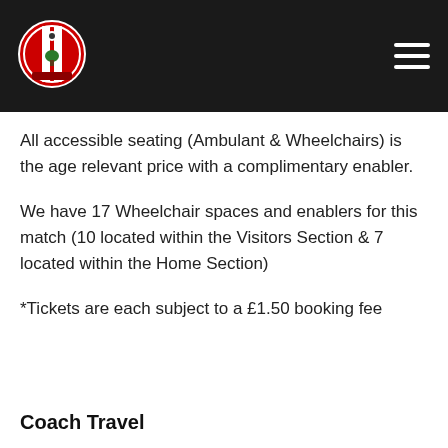[Figure (logo): Southampton FC crest logo, round badge with red and white stripes]
All accessible seating (Ambulant & Wheelchairs) is the age relevant price with a complimentary enabler.
We have 17 Wheelchair spaces and enablers for this match (10 located within the Visitors Section & 7 located within the Home Section)
*Tickets are each subject to a £1.50 booking fee
Coach Travel